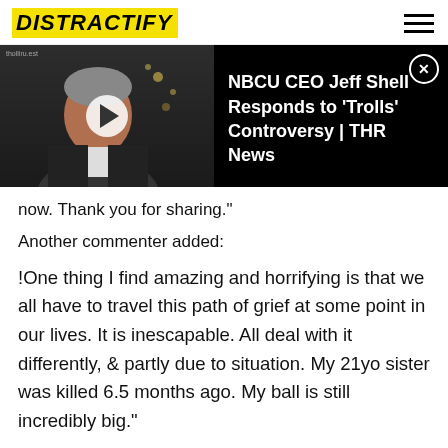DISTRACTIFY
[Figure (screenshot): Video player thumbnail showing a man in a dark suit, with text overlay: 'NBCU CEO Jeff Shell Responds to Trolls Controversy | THR News' on black background, with a play button and close (X) button.]
now. Thank you for sharing."
Another commenter added:
!One thing I find amazing and horrifying is that we all have to travel this path of grief at some point in our lives. It is inescapable. All deal with it differently, & partly due to situation. My 21yo sister was killed 6.5 months ago. My ball is still incredibly big."